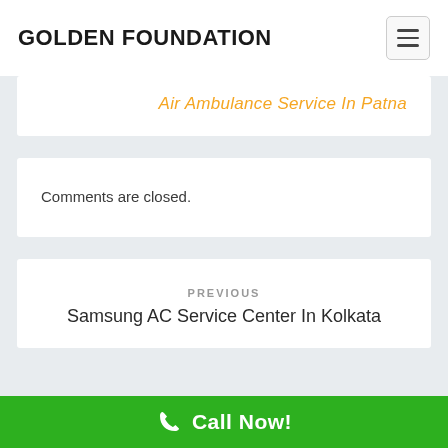GOLDEN FOUNDATION
Air Ambulance Service In Patna
Comments are closed.
PREVIOUS
Samsung AC Service Center In Kolkata
Call Now!